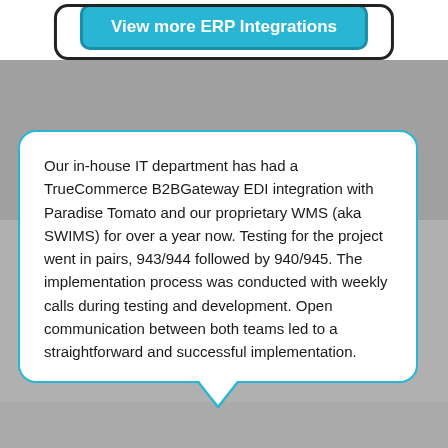View more ERP Integrations
Our in-house IT department has had a TrueCommerce B2BGateway EDI integration with Paradise Tomato and our proprietary WMS (aka SWIMS) for over a year now. Testing for the project went in pairs, 943/944 followed by 940/945. The implementation process was conducted with weekly calls during testing and development. Open communication between both teams led to a straightforward and successful implementation.